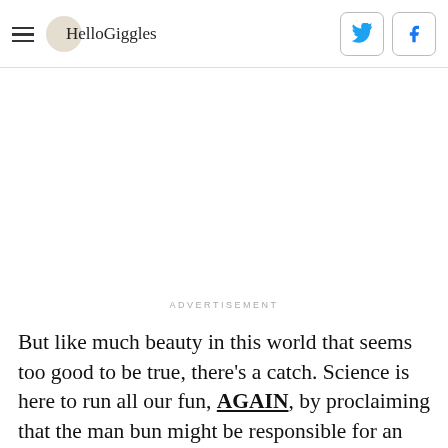HelloGiggles
ADVERTISEMENT
But like much beauty in this world that seems too good to be true, there's a catch. Science is here to run all our fun, AGAIN, by proclaiming that the man bun might be responsible for an increase in cases of